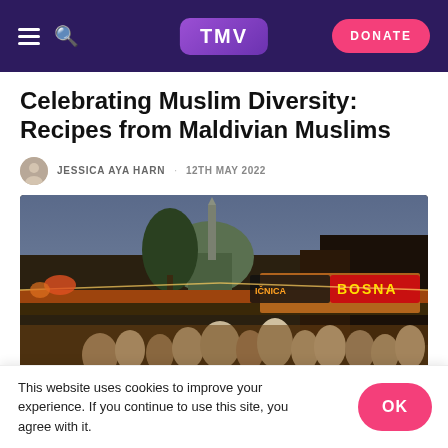TMV | DONATE
Celebrating Muslim Diversity: Recipes from Maldivian Muslims
JESSICA AYA HARN  12TH MAY 2022
[Figure (photo): Crowded street market with a mosque dome in background, warm evening lighting, sign reading BOSNA visible on a restaurant storefront]
This website uses cookies to improve your experience. If you continue to use this site, you agree with it.